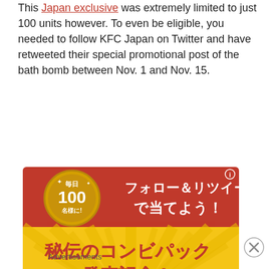This Japan exclusive was extremely limited to just 100 units however. To even be eligible, you needed to follow KFC Japan on Twitter and have retweeted their special promotional post of the bath bomb between Nov. 1 and Nov. 15.
[Figure (photo): KFC Japan promotional image with Japanese text: Follow & Retweet to win! 100 people per day. Secret Combo Pack release commemoration. Red and yellow background with sunburst pattern, a blue play button, and fried chicken pieces at bottom.]
Advertisements